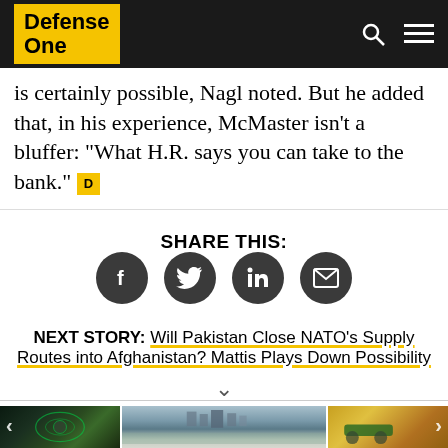Defense One
is certainly possible, Nagl noted. But he added that, in his experience, McMaster isn't a bluffer: “What H.R. says you can take to the bank.”
SHARE THIS:
[Figure (infographic): Four social sharing icon circles (Facebook, Twitter, LinkedIn, Email) in dark grey on white background]
NEXT STORY: Will Pakistan Close NATO’s Supply Routes into Afghanistan? Mattis Plays Down Possibility
[Figure (photo): Three thumbnail images side by side: a robotics/technology image with green circuits, a cityscape across water, and a tractor in a field]